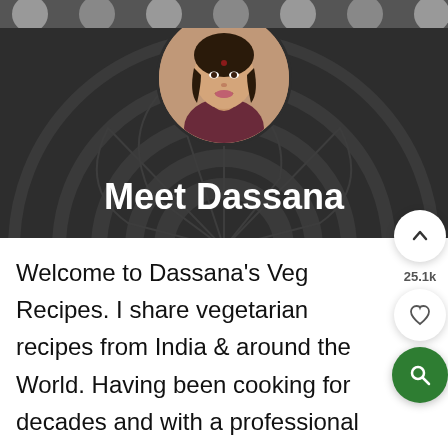[Figure (photo): Top strip with circular avatar icons partially visible at the top of the page]
[Figure (photo): Dark banner with decorative circular pattern background, circular profile photo of Dassana (Indian woman smiling)]
Meet Dassana
Welcome to Dassana's Veg Recipes. I share vegetarian recipes from India & around the World. Having been cooking for decades and with a professional background in cooking & baking, I help you to make your cooking journey easier with